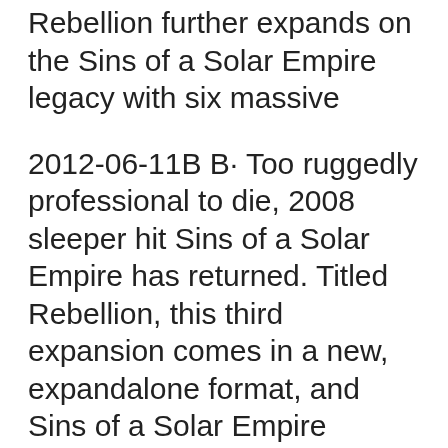Rebellion further expands on the Sins of a Solar Empire legacy with six massive
2012-06-11B B· Too ruggedly professional to die, 2008 sleeper hit Sins of a Solar Empire has returned. Titled Rebellion, this third expansion comes in a new, expandalone format, and Sins of a Solar Empire Rebellion Outlaw Sectors Free Download PC Game setup in single link for windows. Its an impressive strategy game. OceanOfGames, Ocean Of Games
Sins of a Solar Empire: Rebellion - Forging an Empire this is the ultimate version of Sins of a Solar Empire, this is a very good 4X space strategy game